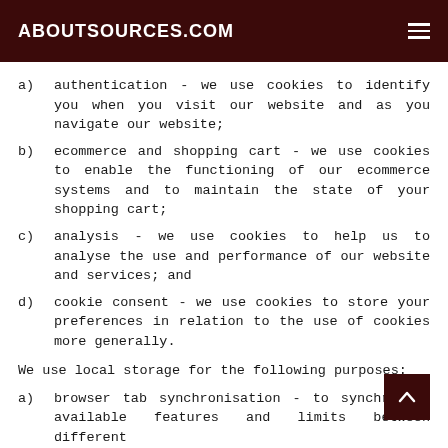ABOUTSOURCES.COM
a)  authentication - we use cookies to identify you when you visit our website and as you navigate our website;
b)  ecommerce and shopping cart - we use cookies to enable the functioning of our ecommerce systems and to maintain the state of your shopping cart;
c)  analysis - we use cookies to help us to analyse the use and performance of our website and services; and
d)  cookie consent - we use cookies to store your preferences in relation to the use of cookies more generally.
We use local storage for the following purposes:
a)  browser tab synchronisation - to synchronise available features and limits between different